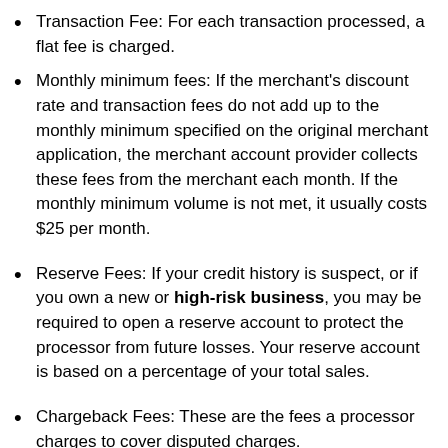Transaction Fee: For each transaction processed, a flat fee is charged.
Monthly minimum fees: If the merchant’s discount rate and transaction fees do not add up to the monthly minimum specified on the original merchant application, the merchant account provider collects these fees from the merchant each month. If the monthly minimum volume is not met, it usually costs $25 per month.
Reserve Fees: If your credit history is suspect, or if you own a new or high-risk business, you may be required to open a reserve account to protect the processor from future losses. Your reserve account is based on a percentage of your total sales.
Chargeback Fees: These are the fees a processor charges to cover disputed charges.
E-commerce: If you’re an e-commerce merchant, inquire about the costs of storefront solutions, such as shopping carts, Web hosting, payment gateways, virtual terminals,